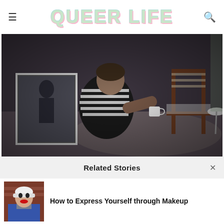Queer Life
[Figure (photo): Person in striped shirt sitting on a rug holding a white mug, viewed from behind, with a leaning mirror and a wooden director's chair in the background, moody indoor lighting.]
Related Stories
[Figure (photo): Thumbnail of a person in blue jacket with white hat and bold red lipstick against a brick background.]
How to Express Yourself through Makeup